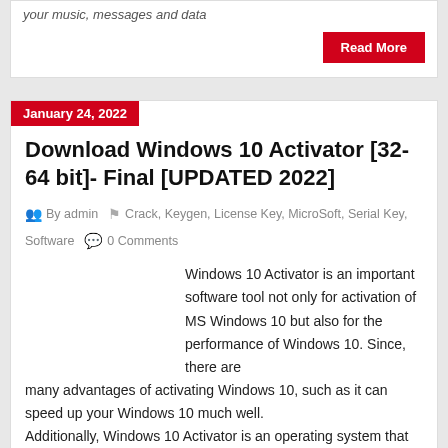your music, messages and data
Read More
January 24, 2022
Download Windows 10 Activator [32-64 bit]- Final [UPDATED 2022]
By admin  Crack, Keygen, License Key, MicroSoft, Serial Key, Software  0 Comments
Windows 10 Activator is an important software tool not only for activation of MS Windows 10 but also for the performance of Windows 10. Since, there are many advantages of activating Windows 10, such as it can speed up your Windows 10 much well. Additionally, Windows 10 Activator is an operating system that